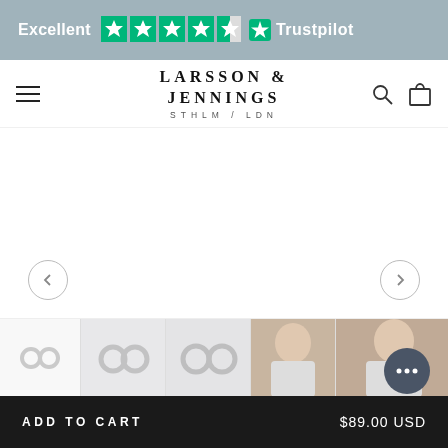Excellent ★★★★½ Trustpilot
[Figure (screenshot): Larsson & Jennings brand logo with navigation bar including hamburger menu, search icon, and cart icon]
[Figure (photo): Product image carousel area for earrings — large white space with left and right navigation arrows]
[Figure (photo): Thumbnail strip showing 5 product images of hoop earrings]
ADD TO CART  $89.00 USD